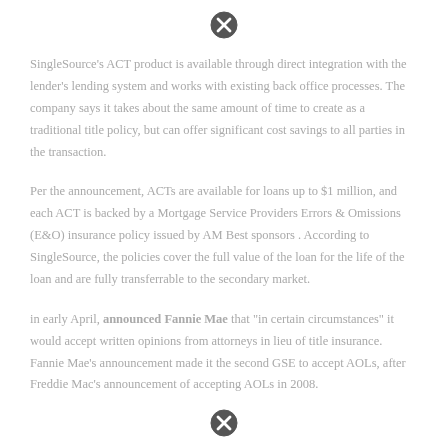[Figure (other): Blocked/error circle icon at top of page]
SingleSource's ACT product is available through direct integration with the lender's lending system and works with existing back office processes. The company says it takes about the same amount of time to create as a traditional title policy, but can offer significant cost savings to all parties in the transaction.
Per the announcement, ACTs are available for loans up to $1 million, and each ACT is backed by a Mortgage Service Providers Errors & Omissions (E&O) insurance policy issued by AM Best sponsors . According to SingleSource, the policies cover the full value of the loan for the life of the loan and are fully transferrable to the secondary market.
in early April, announced Fannie Mae that "in certain circumstances" it would accept written opinions from attorneys in lieu of title insurance. Fannie Mae's announcement made it the second GSE to accept AOLs, after Freddie Mac's announcement of accepting AOLs in 2008.
[Figure (other): Blocked/error circle icon at bottom of page]